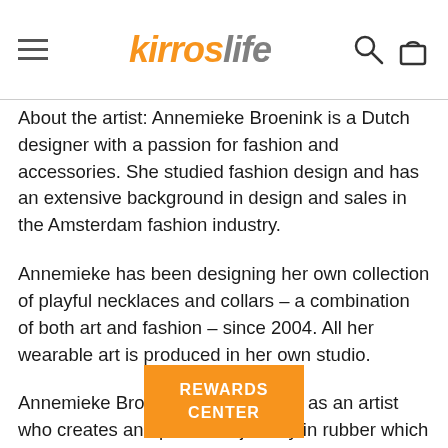kirroslife
About the artist:  Annemieke Broenink is a Dutch designer with a passion for fashion and accessories. She studied fashion design and has an extensive background in design and sales in the Amsterdam fashion industry.
Annemieke has been designing her own collection of playful necklaces and collars – a combination of both art and fashion – since 2004. All her wearable art is produced in her own studio.
Annemieke Broenink is well known as an artist who creates and produces jewelry in rubber which is inspired by traditional lace neckpieces worn in the 17th century. Work…er invites her to explore new directio…ion, developing